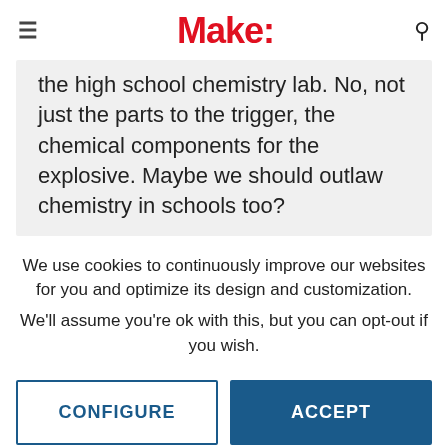Make:
the high school chemistry lab. No, not just the parts to the trigger, the chemical components for the explosive. Maybe we should outlaw chemistry in schools too?
We use cookies to continuously improve our websites for you and optimize its design and customization.
We'll assume you're ok with this, but you can opt-out if you wish.
CONFIGURE
ACCEPT